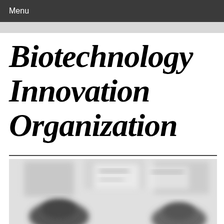Menu
Biotechnology Innovation Organization
[Figure (photo): Blurred photograph of people in what appears to be a laboratory or conference setting, shown in grayscale]